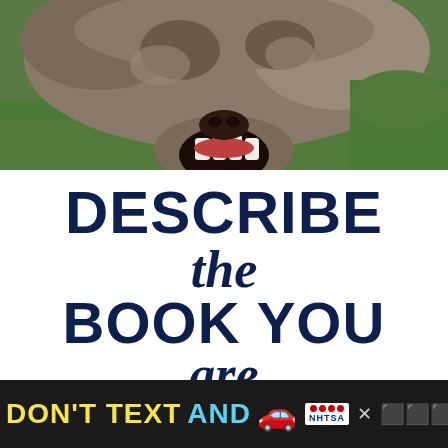[Figure (photo): Close-up photo of a dog's open mouth with teeth visible, against a green grass background, cropped at the top of the page.]
DESCRIBE the BOOK YOU are READING IN
[Figure (infographic): Dark advertisement banner at the bottom: DON'T TEXT AND [car emoji] with NHTSA logo and ad badge. Shows partial text 'READING IN' above it.]